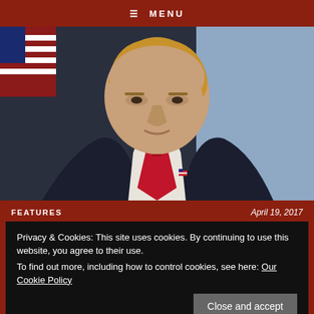≡ MENU
[Figure (photo): Close-up photograph of a man in a dark suit with a red tie and American flag pin, in front of an American flag and white background]
FEATURES
April 19, 2017
Privacy & Cookies: This site uses cookies. By continuing to use this website, you agree to their use.
To find out more, including how to control cookies, see here: Our Cookie Policy
Close and accept
WANTED